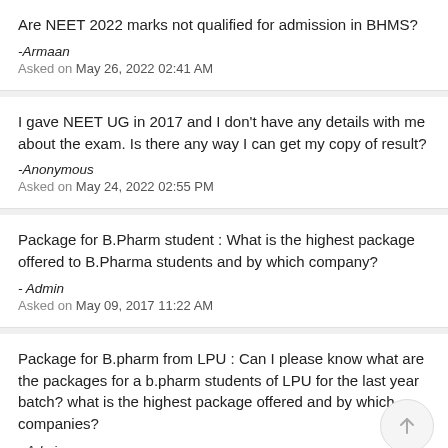Are NEET 2022 marks not qualified for admission in BHMS?
-Armaan
Asked on May 26, 2022 02:41 AM
I gave NEET UG in 2017 and I don't have any details with me about the exam. Is there any way I can get my copy of result?
-Anonymous
Asked on May 24, 2022 02:55 PM
Package for B.Pharm student : What is the highest package offered to B.Pharma students and by which company?
- Admin
Asked on May 09, 2017 11:22 AM
Package for B.pharm from LPU : Can I please know what are the packages for a b.pharm students of LPU for the last year batch? what is the highest package offered and by which companies?
- Admin